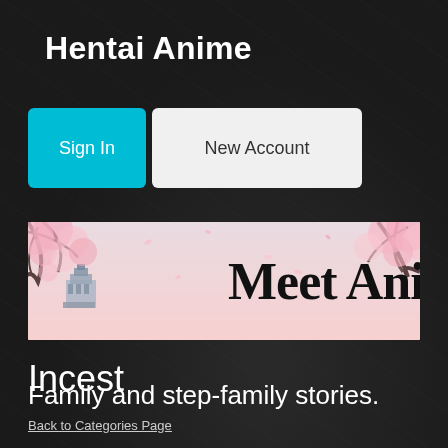Hentai Anime
Sign In
New Account
[Figure (illustration): Banner image with cherry blossom trees and Japanese castle in background, large text reading 'Meet Ani' (partially visible), pink floral theme]
Incest
Family and step-family stories.
Back to Categories Page